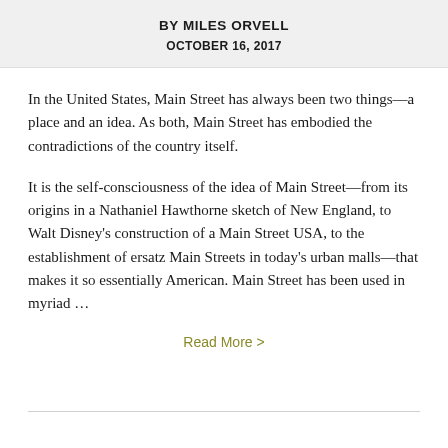BY MILES ORVELL
OCTOBER 16, 2017
In the United States, Main Street has always been two things—a place and an idea. As both, Main Street has embodied the contradictions of the country itself.
It is the self-consciousness of the idea of Main Street—from its origins in a Nathaniel Hawthorne sketch of New England, to Walt Disney's construction of a Main Street USA, to the establishment of ersatz Main Streets in today's urban malls—that makes it so essentially American. Main Street has been used in myriad …
Read More >